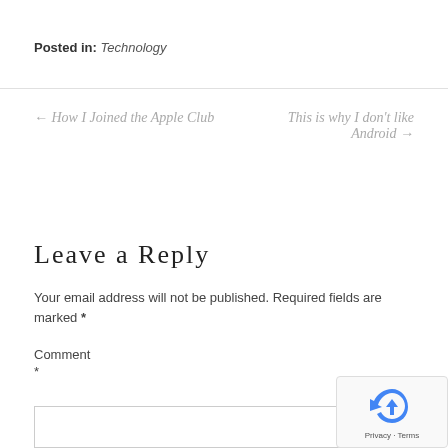Posted in: Technology
← How I Joined the Apple Club
This is why I don't like Android →
Leave a Reply
Your email address will not be published. Required fields are marked *
Comment *